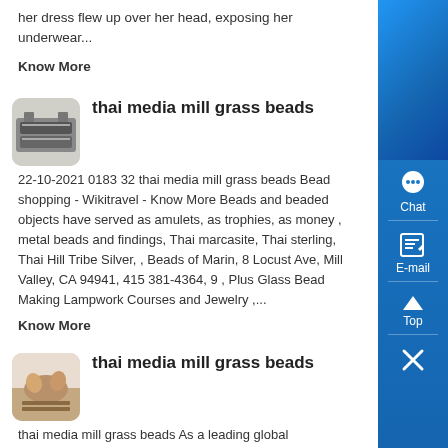her dress flew up over her head, exposing her underwear...
Know More
[Figure (photo): Thumbnail image of industrial milling/grinding equipment]
thai media mill grass beads
22-10-2021 0183 32 thai media mill grass beads Bead shopping - Wikitravel - Know More Beads and beaded objects have served as amulets, as trophies, as money , metal beads and findings, Thai marcasite, Thai sterling, Thai Hill Tribe Silver, , Beads of Marin, 8 Locust Ave, Mill Valley, CA 94941, 415 381-4364, 9 , Plus Glass Bead Making Lampwork Courses and Jewelry ,...
Know More
[Figure (photo): Thumbnail image of hands working with materials]
thai media mill grass beads
thai media mill grass beads As a leading global manufacturer of crushing, grinding and mining equipments, we offer advanced, reasonable solutions for any size-reduction requirements including quarry, aggregate, and different kinds of minerals...